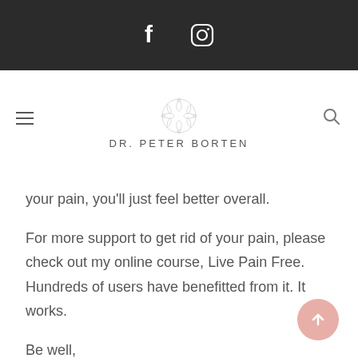[Figure (other): Dark header bar with Facebook and Instagram social media icons in white]
DR. PETER BORTEN
your pain, you'll just feel better overall.
For more support to get rid of your pain, please check out my online course, Live Pain Free. Hundreds of users have benefitted from it. It works.
Be well,